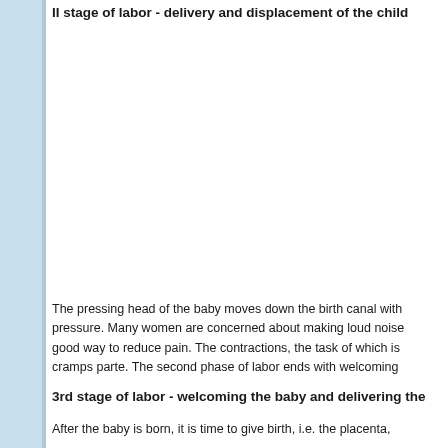II stage of labor - delivery and displacement of the child
The pressing head of the baby moves down the birth canal with pressure. Many women are concerned about making loud noise good way to reduce pain. The contractions, the task of which is cramps parte. The second phase of labor ends with welcoming
3rd stage of labor - welcoming the baby and delivering the
After the baby is born, it is time to give birth, i.e. the placenta,